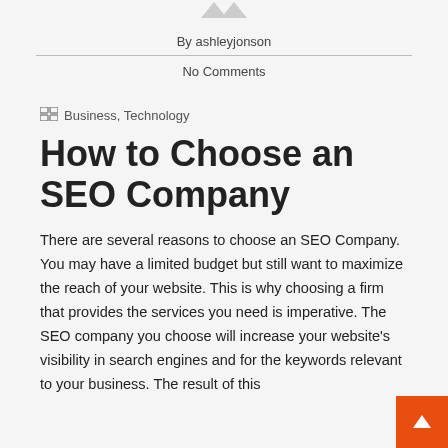By ashleyjonson
No Comments
Business, Technology
How to Choose an SEO Company
There are several reasons to choose an SEO Company. You may have a limited budget but still want to maximize the reach of your website. This is why choosing a firm that provides the services you need is imperative. The SEO company you choose will increase your website's visibility in search engines and for the keywords relevant to your business. The result of this